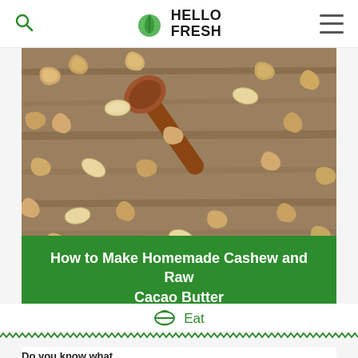HelloFresh
[Figure (photo): Overhead photo of raw cashew nuts scattered on a wooden surface with a wooden spoon]
How to Make Homemade Cashew and Raw Cacao Butter
Eat